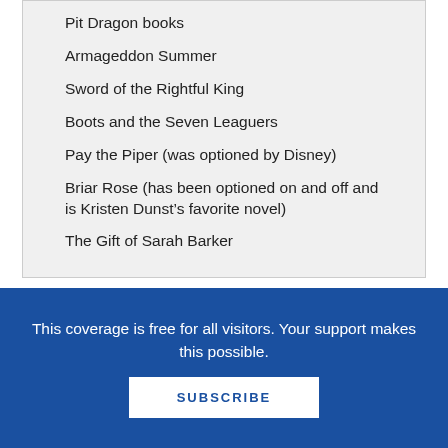Pit Dragon books
Armageddon Summer
Sword of the Rightful King
Boots and the Seven Leaguers
Pay the Piper (was optioned by Disney)
Briar Rose (has been optioned on and off and is Kristen Dunst’s favorite novel)
The Gift of Sarah Barker
This coverage is free for all visitors. Your support makes this possible.
SUBSCRIBE